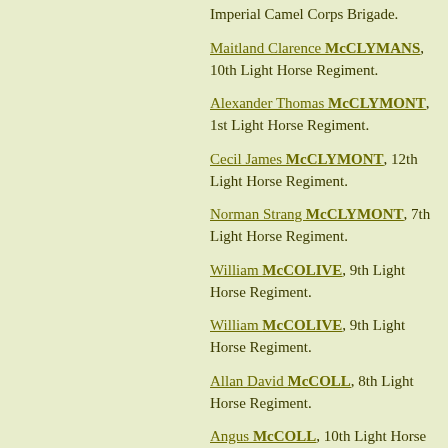Imperial Camel Corps Brigade.
Maitland Clarence McCLYMANS, 10th Light Horse Regiment.
Alexander Thomas McCLYMONT, 1st Light Horse Regiment.
Cecil James McCLYMONT, 12th Light Horse Regiment.
Norman Strang McCLYMONT, 7th Light Horse Regiment.
William McCOLIVE, 9th Light Horse Regiment.
William McCOLIVE, 9th Light Horse Regiment.
Allan David McCOLL, 8th Light Horse Regiment.
Angus McCOLL, 10th Light Horse Regiment.
Archibald Wallace McCOLL, 6th Light Horse Regiment.